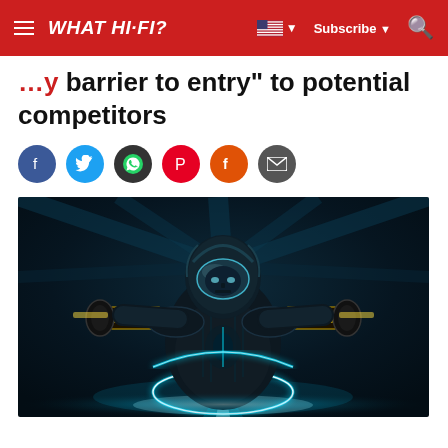WHAT HI-FI? | Subscribe | Search
barrier to entry" to potential competitors
[Figure (photo): A figure dressed in a futuristic black suit riding a Tron light cycle, viewed from the front, with glowing cyan/white neon lights, dark blue background — scene from Tron Legacy.]